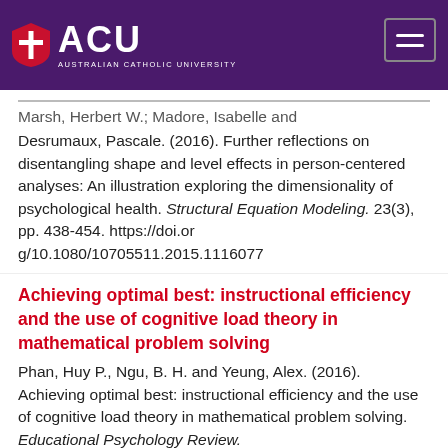ACU Australian Catholic University
Marsh, Herbert W.; Madore, Isabelle and Desrumaux, Pascale. (2016). Further reflections on disentangling shape and level effects in person-centered analyses: An illustration exploring the dimensionality of psychological health. Structural Equation Modeling. 23(3), pp. 438-454. https://doi.org/10.1080/10705511.2015.1116077
Achieving optimal best: instructional efficiency and the use of cognitive load theory in mathematical problem solving
Phan, Huy P., Ngu, B. H. and Yeung, Alex. (2016). Achieving optimal best: instructional efficiency and the use of cognitive load theory in mathematical problem solving. Educational Psychology Review.